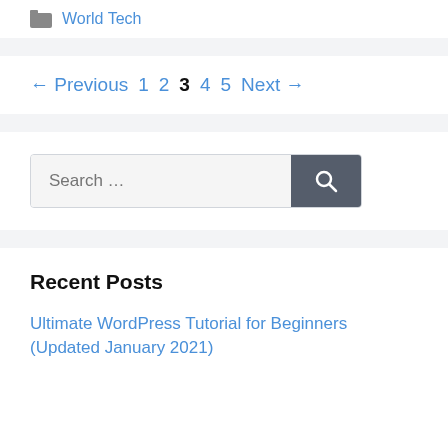World Tech
← Previous 1 2 3 4 5 Next →
Search …
Recent Posts
Ultimate WordPress Tutorial for Beginners (Updated January 2021)